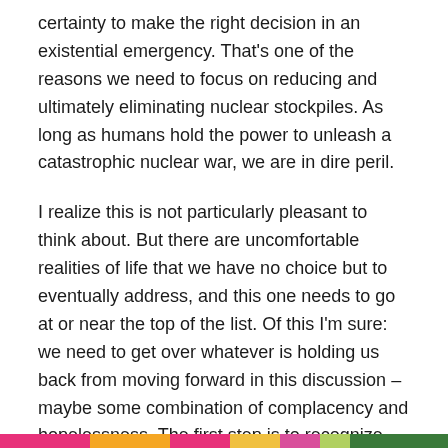certainty to make the right decision in an existential emergency. That's one of the reasons we need to focus on reducing and ultimately eliminating nuclear stockpiles. As long as humans hold the power to unleash a catastrophic nuclear war, we are in dire peril.
I realize this is not particularly pleasant to think about. But there are uncomfortable realities of life that we have no choice but to eventually address, and this one needs to go at or near the top of the list. Of this I'm sure: we need to get over whatever is holding us back from moving forward in this discussion – maybe some combination of complacency and hopelessness. The first step is to recognize that the risks of nuclear miscalculations or accidents are real and unacceptable, and we don't have to just accept them.